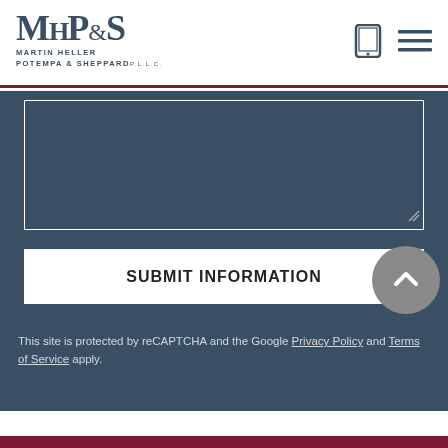[Figure (logo): Martin Heller Potempa & Sheppard law firm logo with MH&PS monogram above text 'MARTIN HELLER POTEMPA & SHEPPARD P.L.L.C.']
[Figure (infographic): Tablet/mobile device icon and hamburger menu icon in header navigation]
[Figure (screenshot): Dark blue-gray text area input field with white border and resize handle]
[Figure (other): White submit button with bold text SUBMIT INFORMATION]
[Figure (other): Gray circular scroll-to-top button with upward chevron arrow]
This site is protected by reCAPTCHA and the Google Privacy Policy and Terms of Service apply.
Maroon footer bar